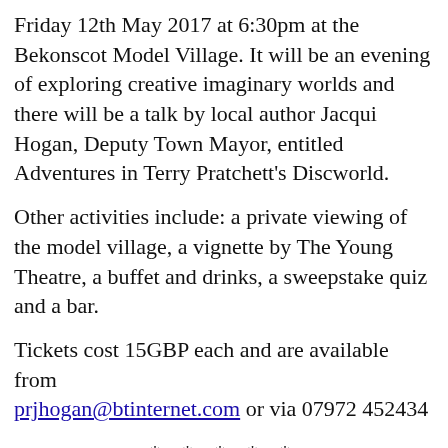Friday 12th May 2017 at 6:30pm at the Bekonscot Model Village. It will be an evening of exploring creative imaginary worlds and there will be a talk by local author Jacqui Hogan, Deputy Town Mayor, entitled Adventures in Terry Pratchett's Discworld.
Other activities include: a private viewing of the model village, a vignette by The Young Theatre, a buffet and drinks, a sweepstake quiz and a bar.
Tickets cost 15GBP each and are available from prjhogan@btinternet.com or via 07972 452434
* * * * *
The Story Museum in Oxford is holding its third Discworld Day on Saturday the 27th May. This year's theme is The Truth and you can take part in all sorts of activities such as taking part in printing workshops, learning how newspapers were before the digital age, create your own newspaper comic, meet Otto Shriek Discworld's only Vampire photographer and pick up your copy of the Ankh